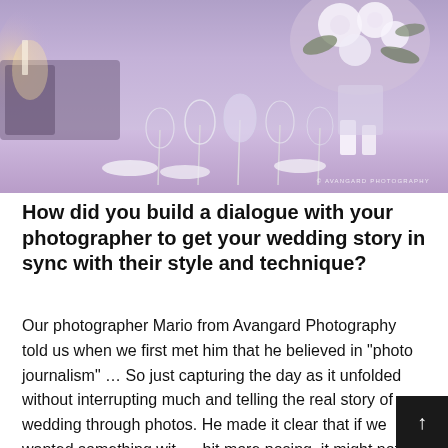[Figure (photo): Wedding reception table setting with purple/lavender ambient lighting, wine glasses, place settings, floral centerpiece with white dahlias and greenery, candles. Watermark reading '© AVANGARD PHOTOGRAPHY' in lower right corner.]
How did you build a dialogue with your photographer to get your wedding story in sync with their style and technique?
Our photographer Mario from Avangard Photography told us when we first met him that he believed in "photo journalism" … So just capturing the day as it unfolded without interrupting much and telling the real story of our wedding through photos. He made it clear that if we wanted something with a bit more posing, it might not be the best fit. However, because